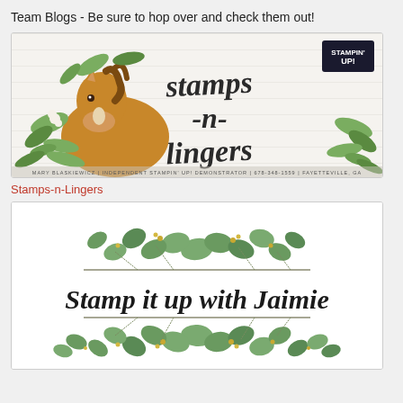Team Blogs - Be sure to hop over and check them out!
[Figure (illustration): Blog banner for Stamps-n-Lingers showing a horse with floral decorations and the text 'stamps -n- lingers' in script font with Stampin' Up! logo]
Stamps-n-Lingers
[Figure (illustration): Blog banner for Stamp it up with Jaimie showing eucalyptus leaves framing the script text 'Stamp it up with Jaimie']